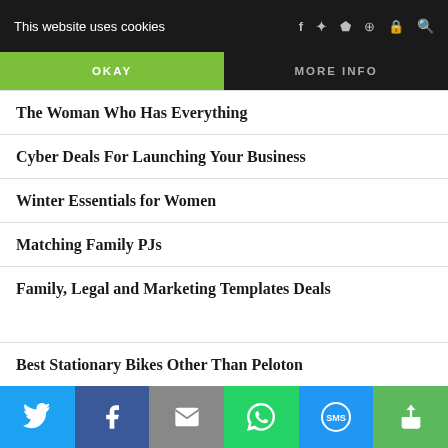This website uses cookies
OKAY
MORE INFO
The Woman Who Has Everything
Cyber Deals For Launching Your Business
Winter Essentials for Women
Matching Family PJs
Family, Legal and Marketing Templates Deals
Best Stationary Bikes Other Than Peloton
Twitter | Facebook | Email | WhatsApp | SMS | More